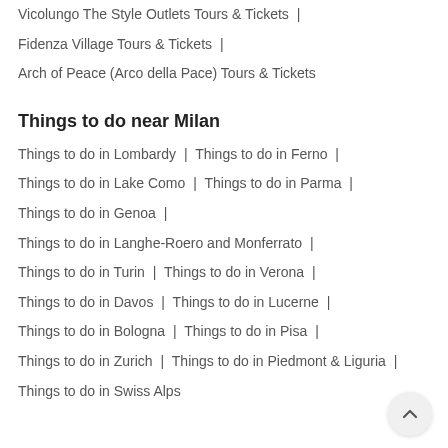Vicolungo The Style Outlets Tours & Tickets |
Fidenza Village Tours & Tickets |
Arch of Peace (Arco della Pace) Tours & Tickets
Things to do near Milan
Things to do in Lombardy | Things to do in Ferno |
Things to do in Lake Como | Things to do in Parma |
Things to do in Genoa |
Things to do in Langhe-Roero and Monferrato |
Things to do in Turin | Things to do in Verona |
Things to do in Davos | Things to do in Lucerne |
Things to do in Bologna | Things to do in Pisa |
Things to do in Zurich | Things to do in Piedmont & Liguria |
Things to do in Swiss Alps